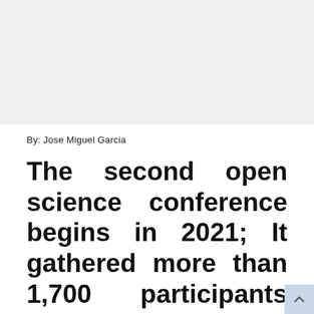[Figure (other): Gray background banner area at top of page]
By: Jose Miguel Garcia
The second open science conference begins in 2021; It gathered more than 1,700 participants from Mexico, Costa Rica, Panama, Colombia